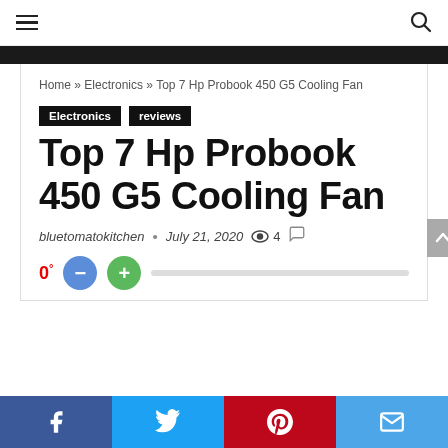Home » Electronics » Top 7 Hp Probook 450 G5 Cooling Fan
Electronics   reviews
Top 7 Hp Probook 450 G5 Cooling Fan
bluetomatokitchen • July 21, 2020  4
Social share bar: Facebook, Twitter, Pinterest, Email